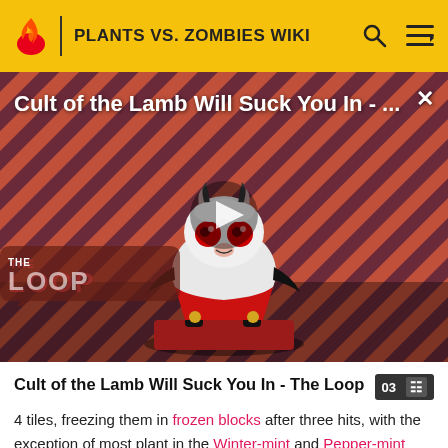PLANTS VS. ZOMBIES WIKI
[Figure (screenshot): Video thumbnail for 'Cult of the Lamb Will Suck You In - The Loop' showing a cartoon lamb character on a red striped background with a play button overlay and THE LOOP logo in the bottom left.]
Cult of the Lamb Will Suck You In - The Loop
4 tiles, freezing them in frozen blocks after three hits, with the exception of most plant in the Winter-mint and Pepper-mint families. for an exact list, the Hunter Zombie cannot freeze Snapdragon, Pepper-pult, Fire Peashooter